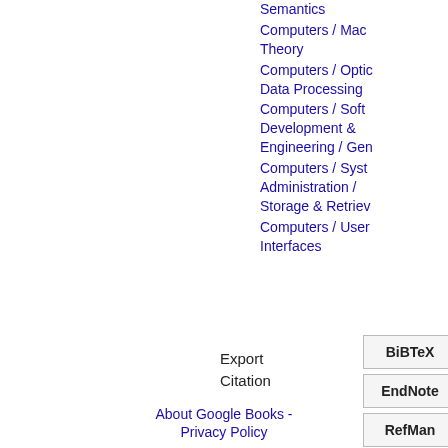Semantics
Computers / Machine Theory
Computers / Optical Data Processing
Computers / Software Development & Engineering / General
Computers / Systems Administration / Storage & Retrieval
Computers / User Interfaces
Export Citation
BiBTeX
EndNote
RefMan
About Google Books - Privacy Policy